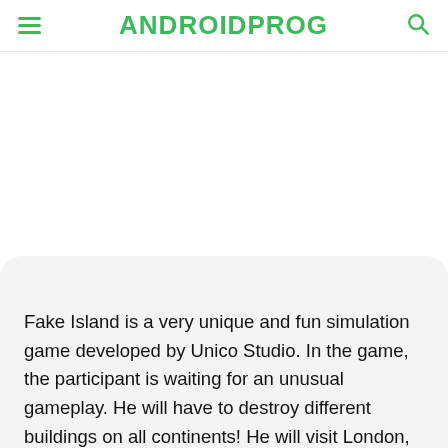ANDROIDPROG
[Figure (illustration): Large white/blank image area representing a game screenshot or advertisement banner, with a rounded white overlay at the bottom transitioning to a light gray content area.]
Fake Island is a very unique and fun simulation game developed by Unico Studio. In the game, the participant is waiting for an unusual gameplay. He will have to destroy different buildings on all continents! He will visit London, Paris, Berlin, Rome, Las Vegas and other major cities